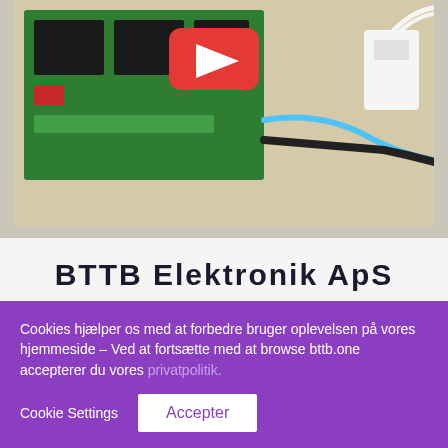[Figure (photo): Photo of an electronics circuit board (green PCB with black relay modules and wiring) on a wooden surface, with a YouTube play button overlay visible. Shown inside a bordered image container.]
BTTB Elektronik ApS
Telefon
(+45) 93 10 21 05
Cookies hjælper os med at forbedre bruger oplevelsen på vores hjemmeside – Ved at fortsætte med at browse bttb.one accepterer du vores privatpolitik.
Cookie Settings
Accepter